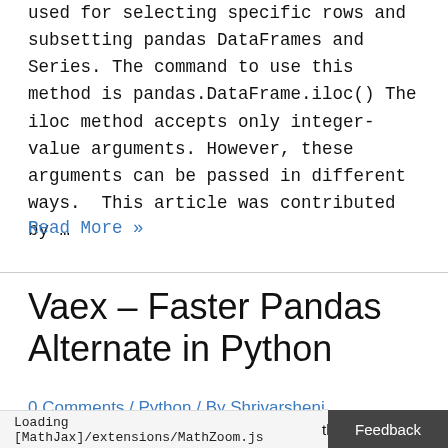used for selecting specific rows and subsetting pandas DataFrames and Series. The command to use this method is pandas.DataFrame.iloc() The iloc method accepts only integer-value arguments. However, these arguments can be passed in different ways.  This article was contributed by …
Read More »
Vaex – Faster Pandas Alternate in Python
0 Comments / Python / By Shrivarsheni
Loading [MathJax]/extensions/MathZoom.js